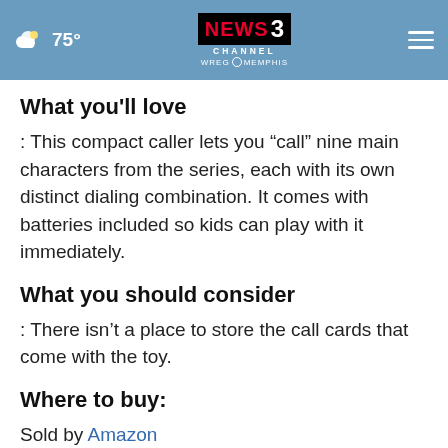75° NEWS CHANNEL 3 WREG MEMPHIS
What you'll love
: This compact caller lets you “call” nine main characters from the series, each with its own distinct dialing combination. It comes with batteries included so kids can play with it immediately.
What you should consider
: There isn’t a place to store the call cards that come with the toy.
Where to buy:
Sold by Amazon